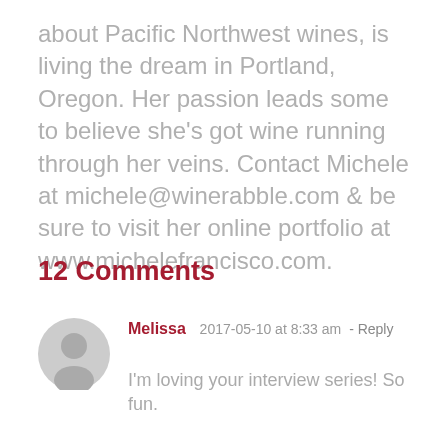about Pacific Northwest wines, is living the dream in Portland, Oregon. Her passion leads some to believe she's got wine running through her veins. Contact Michele at michele@winerabble.com & be sure to visit her online portfolio at www.michelefrancisco.com.
12 Comments
Melissa  2017-05-10 at 8:33 am - Reply
I'm loving your interview series! So fun.